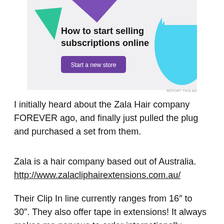[Figure (illustration): Advertisement banner with light gray background, purple triangle top center, green triangle top left, cyan blob top right, bold text 'How to start selling subscriptions online', purple button 'Start a new store', and 'REPORT THIS AD' link bottom right.]
I initially heard about the Zala Hair company FOREVER ago, and finally just pulled the plug and purchased a set from them.
Zala is a hair company based out of Australia. http://www.zalacliphairextensions.com.au/
Their Clip In line currently ranges from 16″ to 30″. They also offer tape in extensions! It always makes me nervous to order internationally, however I